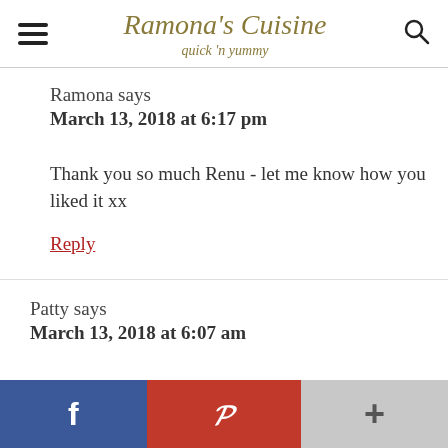Ramona's Cuisine – quick 'n yummy
Ramona says
March 13, 2018 at 6:17 pm
Thank you so much Renu - let me know how you liked it xx
Reply
Patty says
March 13, 2018 at 6:07 am